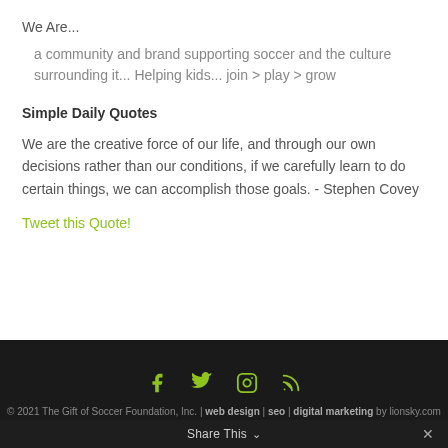We Are...
a community and brand supporting soccer and the culture surrounding it... Helping kids... join > play > grow
Simple Daily Quotes
We are the creative force of our life, and through our own decisions rather than our conditions, if we carefully learn to do certain things, we can accomplish those goals. - Stephen Covey
Tweet this Quote!
© 2021 The Gift of Soccer Foundation, Inc. | web design | seo | digital marketing by lionsky.com